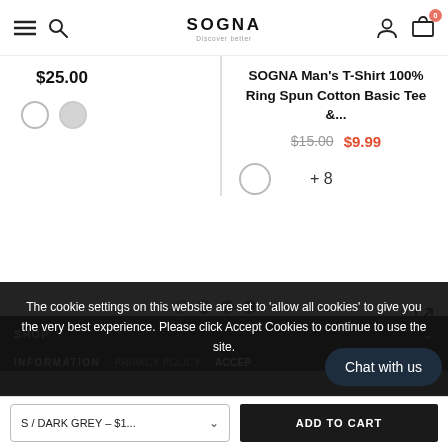[Figure (screenshot): E-commerce website header with hamburger menu, search icon, SOGNA logo (Discover better), user icon, and cart icon with badge showing 0]
$25.00
[Figure (illustration): Color swatch circle (empty/white) for product color selection]
SOGNA Man's T-Shirt 100% Ring Spun Cotton Basic Tee &...
$15.00  $9.99
[Figure (illustration): Color swatch circle (empty/white) and +8 more colors for right product]
[Figure (illustration): Carousel pagination dots: open circle, filled dark dot, filled dark dot, filled dark dot]
[Figure (illustration): Side action buttons: share/expand icon, scroll up arrow]
The cookie settings on this website are set to 'allow all cookies' to give you the very best experience. Please click Accept Cookies to continue to use the site.
SHOP
INFORMATION
PRIVACY POLICY
ACCEPT
Chat with us
S / DARK GREY – $1...
ADD TO CART